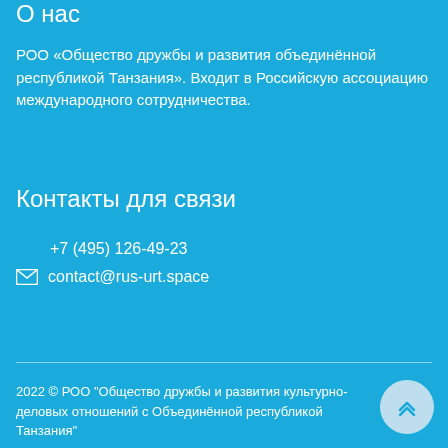О нас
РОО «Общество дружбы и развития объединённой республикой Танзания». Входит в Российскую ассоциацию международного сотрудничества.
Контакты для связи
+7 (495) 126-49-23
contact@rus-urt.space
2022 © РОО "Общество дружбы и развития культурно-деловых отношений с Объединённой республикой Танзания"